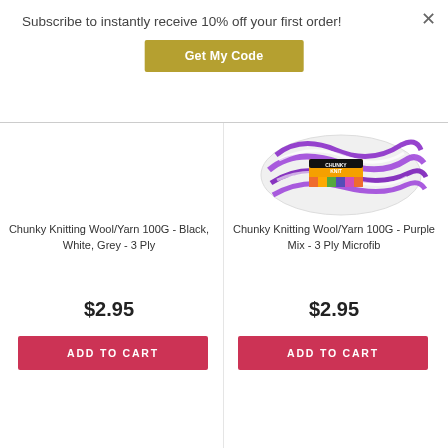Subscribe to instantly receive 10% off your first order!
Get My Code
[Figure (photo): Chunky knitting yarn ball in purple and white colors with colorful label]
Chunky Knitting Wool/Yarn 100G - Black, White, Grey - 3 Ply
Chunky Knitting Wool/Yarn 100G - Purple Mix - 3 Ply Microfib
$2.95
$2.95
ADD TO CART
ADD TO CART